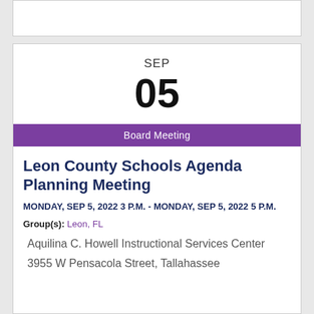SEP
05
Board Meeting
Leon County Schools Agenda Planning Meeting
MONDAY, SEP 5, 2022 3 P.M. - MONDAY, SEP 5, 2022 5 P.M.
Group(s): Leon, FL
Aquilina C. Howell Instructional Services Center
3955 W Pensacola Street, Tallahassee